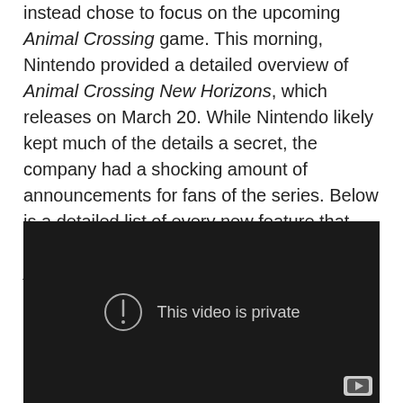instead chose to focus on the upcoming Animal Crossing game. This morning, Nintendo provided a detailed overview of Animal Crossing New Horizons, which releases on March 20. While Nintendo likely kept much of the details a secret, the company had a shocking amount of announcements for fans of the series. Below is a detailed list of every new feature that Nintendo announced in the 25 minute Animal Crossing Direct:
[Figure (screenshot): Embedded YouTube video player showing a black screen with a circle-exclamation icon and the message 'This video is private', with a YouTube logo in the bottom-right corner.]